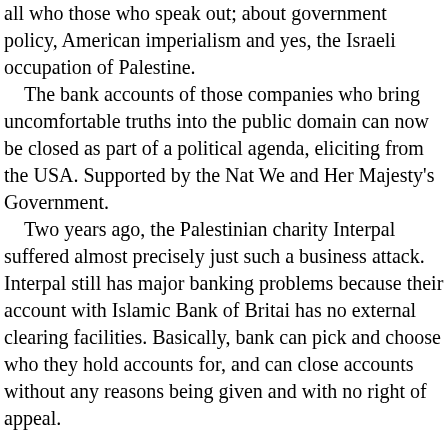all who those who speak out; about government policy, American imperialism and yes, the Israeli occupation of Palestine.
 The bank accounts of those companies who bring uncomfortable truths into the public domain can now be closed as part of a political agenda, eliciting from the USA. Supported by the Nat We and Her Majesty's Government.
 Two years ago, the Palestinian charity Interpal suffered almost precisely just such a business attack. Interpal still has major banking problems because their account with Islamic Bank of Britai has no external clearing facilities. Basically, bank can pick and choose who they hold accounts for, and can close accounts without any reasons being given and with no right of appeal.

 Although the government has a charter, to make sure that every individual has access to banking facilities, this doesn't apply to companies and corporate bodies like Muslim charities. Or Press TV.

 So with these cards on the table. The question I' like to pose to all those in the charitable or the